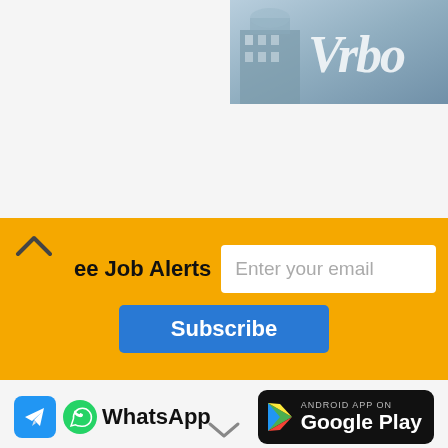[Figure (screenshot): Partial VRBO advertisement banner in top right, showing a building exterior with 'Vrbo' text in italic white/grey on a blue-grey background]
[Figure (screenshot): Yellow subscription bar with 'Free Job Alerts' label, email input field, and blue Subscribe button. Chevron-up icon on the left.]
[Figure (screenshot): Social media icons row: Telegram blue icon, WhatsApp green icon with 'WhatsApp' text, and 'Android App on Google Play' black badge]
[Figure (screenshot): Subscribe to our YouTube Channel badge with YouTube logo]
Mother Teresa Womens University Guest Faculty Recruitment 2022: Advertisement for the post of Guest Faculty in Mother Teresa Womens University